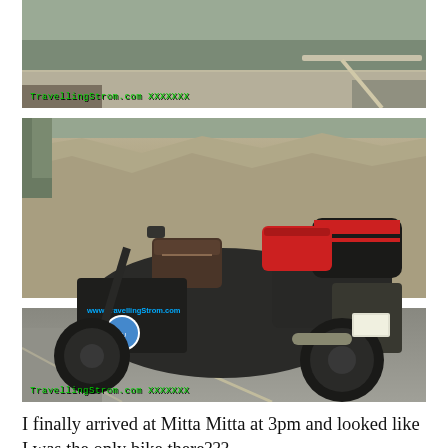[Figure (photo): Top portion of a motorcycle photo showing a road and rocky hillside with green watermark text 'TravellingStrom.com XXXXXXX' in bottom left]
[Figure (photo): A fully loaded touring motorcycle (Suzuki V-Strom style) parked on a road with rocky hills behind it. The bike has panniers, a tank bag, a red duffel bag, and a black top case. The left pannier reads 'www.TravellingStrom.com' with an Australia map logo. Green watermark text 'TravellingStrom.com XXXXXXX' in the bottom left corner.]
I finally arrived at Mitta Mitta at 3pm and looked like I was the only bike there???